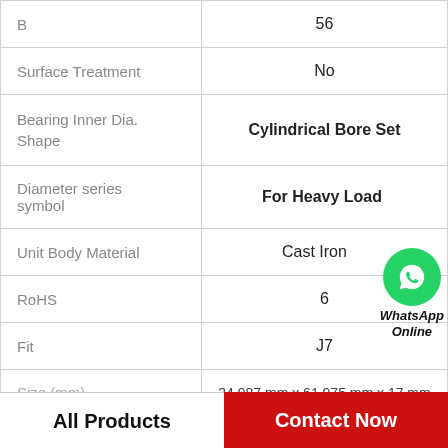| Property | Value |
| --- | --- |
| B | 56 |
| Surface Treatment | No |
| Bearing Inner Dia. Shape | Cylindrical Bore Set |
| Diameter series symbol | For Heavy Load |
| Unit Body Material | Cast Iron |
| RoHS | 6 |
| Fit | J7 |
| Size (mm) | 34.987 mm x 61.975 mm x 17 mm |
[Figure (logo): WhatsApp Online green phone icon with bold italic text 'WhatsApp Online']
All Products
Contact Now